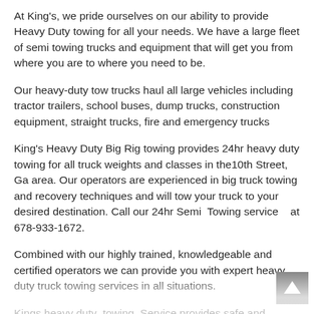At King's, we pride ourselves on our ability to provide Heavy Duty towing for all your needs. We have a large fleet of semi towing trucks and equipment that will get you from where you are to where you need to be.
Our heavy-duty tow trucks haul all large vehicles including tractor trailers, school buses, dump trucks, construction equipment, straight trucks, fire and emergency trucks
King's Heavy Duty Big Rig towing provides 24hr heavy duty towing for all truck weights and classes in the10th Street, Ga area. Our operators are experienced in big truck towing and recovery techniques and will tow your truck to your desired destination. Call our 24hr Semi  Towing service   at 678-933-1672.
Combined with our highly trained, knowledgeable and certified operators we can provide you with expert heavy duty truck towing services in all situations.
Kings heavy duty  towing  Service provides safe and efficient bus and RV towing services .
Our extensive and flexible fleet of heavy duty tow trucks are able to provide all sorts of truck towing services, both emergency and scheduled. Our reputation is known for providing quick, friendly...